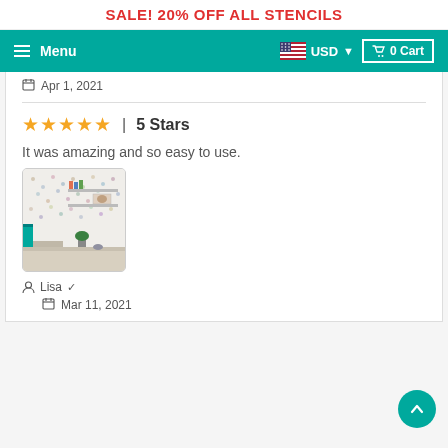SALE! 20% OFF ALL STENCILS
Menu | USD | 0 Cart
Apr 1, 2021
5 Stars
It was amazing and so easy to use.
[Figure (photo): Room with stenciled dotted wall, shelves with books and art, teal towel hanging, white desk with plant]
Lisa ✓
Mar 11, 2021